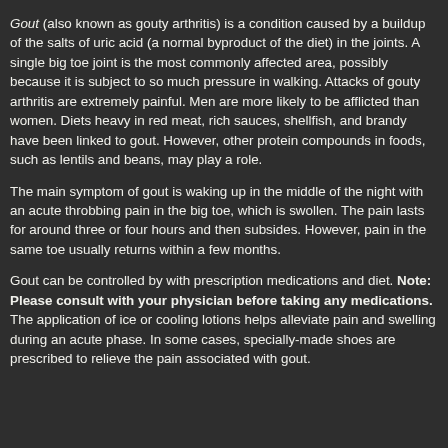Gout (also known as gouty arthritis) is a condition caused by a buildup of the salts of uric acid (a normal byproduct of the diet) in the joints. A single big toe joint is the most commonly affected area, possibly because it is subject to so much pressure in walking. Attacks of gouty arthritis are extremely painful. Men are more likely to be afflicted than women. Diets heavy in red meat, rich sauces, shellfish, and brandy have been linked to gout. However, other protein compounds in foods, such as lentils and beans, may play a role.
The main symptom of gout is waking up in the middle of the night with an acute throbbing pain in the big toe, which is swollen. The pain lasts for around three or four hours and then subsides. However, pain in the same toe usually returns within a few months.
Gout can be controlled by with prescription medications and diet. Note: Please consult with your physician before taking any medications. The application of ice or cooling lotions helps alleviate pain and swelling during an acute phase. In some cases, specially-made shoes are prescribed to relieve the pain associated with gout.